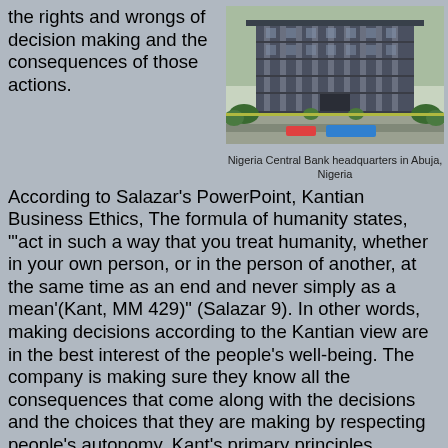the rights and wrongs of decision making and the consequences of those actions.
[Figure (photo): Nigeria Central Bank headquarters building in Abuja, Nigeria — a large modern multi-story building with columns, surrounded by greenery and a road in the foreground.]
Nigeria Central Bank headquarters in Abuja, Nigeria
According to Salazar's PowerPoint, Kantian Business Ethics, The formula of humanity states, "'act in such a way that you treat humanity, whether in your own person, or in the person of another, at the same time as an end and never simply as a mean'(Kant, MM 429)" (Salazar 9). In other words, making decisions according to the Kantian view are in the best interest of the people's well-being. The company is making sure they know all the consequences that come along with the decisions and the choices that they are making by respecting people's autonomy. Kant's primary principles include, acting rationally, allowing and helping people to make rational decisions, respecting people, their autonomy and individual needs/differences, and finally being motivated the by good will of the people. Sanusi did not act the in interest of the people's well-being during this case. One argument that could be made was that he was looking for the